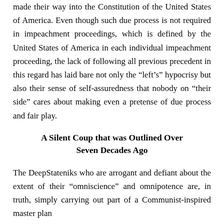made their way into the Constitution of the United States of America. Even though such due process is not required in impeachment proceedings, which is defined by the United States of America in each individual impeachment proceeding, the lack of following all previous precedent in this regard has laid bare not only the “left’s” hypocrisy but also their sense of self-assuredness that nobody on “their side” cares about making even a pretense of due process and fair play.
A Silent Coup that was Outlined Over Seven Decades Ago
The DeepStateniks who are arrogant and defiant about the extent of their “omniscience” and omnipotence are, in truth, simply carrying out part of a Communist-inspired master plan